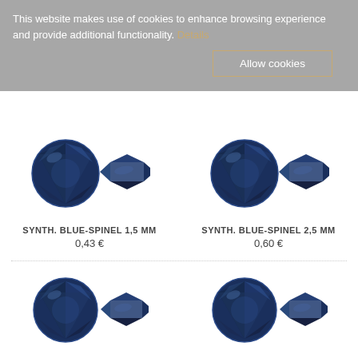This website makes use of cookies to enhance browsing experience and provide additional functionality. Details
Allow cookies
[Figure (photo): Two blue spinel gemstones: one round brilliant cut (front view) and one side/profile view, dark navy blue color — for SYNTH. BLUE-SPINEL 1,5 MM]
SYNTH. BLUE-SPINEL 1,5 MM
0,43 €
[Figure (photo): Two blue spinel gemstones: one round brilliant cut (front view) and one side/profile view, dark navy blue color — for SYNTH. BLUE-SPINEL 2,5 MM]
SYNTH. BLUE-SPINEL 2,5 MM
0,60 €
[Figure (photo): Two blue spinel gemstones: one round brilliant cut (front view) and one side/profile view, dark navy blue color — for SYNTH. BLUE-SPINEL 4,0 MM]
SYNTH. BLUE-SPINEL 4,0 MM
[Figure (photo): Two blue spinel gemstones: one round brilliant cut (front view) and one side/profile view, dark navy blue color — for SYNTH. BLUE-SPINEL 1,0 MM]
SYNTH. BLUE-SPINEL 1,0 MM